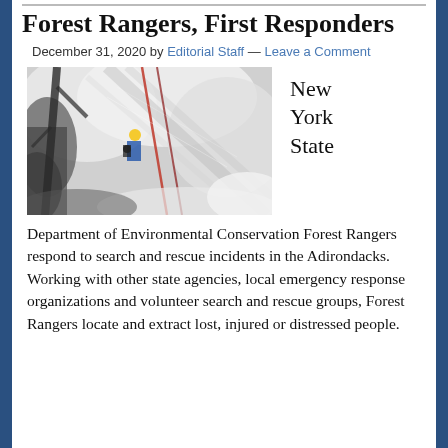Climber Ice Climber Assisted By Forest Rangers, First Responders
December 31, 2020 by Editorial Staff — Leave a Comment
[Figure (photo): Ice climbing scene in the Adirondacks with a climber on an icy cliff face, ropes visible, snow and rock in foreground.]
New York State
Department of Environmental Conservation Forest Rangers respond to search and rescue incidents in the Adirondacks. Working with other state agencies, local emergency response organizations and volunteer search and rescue groups, Forest Rangers locate and extract lost, injured or distressed people.